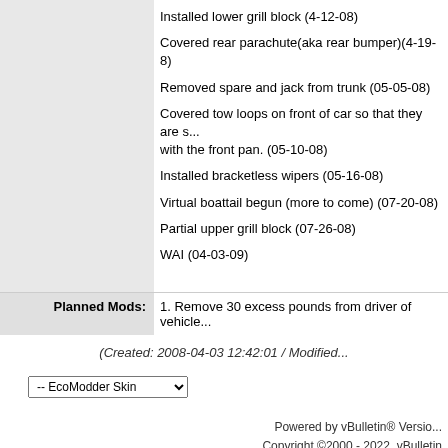Installed lower grill block (4-12-08)
Covered rear parachute(aka rear bumper)(4-19-8)
Removed spare and jack from trunk (05-05-08)
Covered tow loops on front of car so that they are s... with the front pan. (05-10-08)
Installed bracketless wipers (05-16-08)
Virtual boattail begun (more to come) (07-20-08)
Partial upper grill block (07-26-08)
WAI (04-03-09)
Planned Mods: 1. Remove 30 excess pounds from driver of vehicle...
(Created: 2008-04-03 12:42:01 / Modified...)
-- EcoModder Skin
Powered by vBulletin® Version ... Copyright ©2000 - 2022, vBulletin ... Content Relevant URLs by vB3... All content copyright EcoMod...